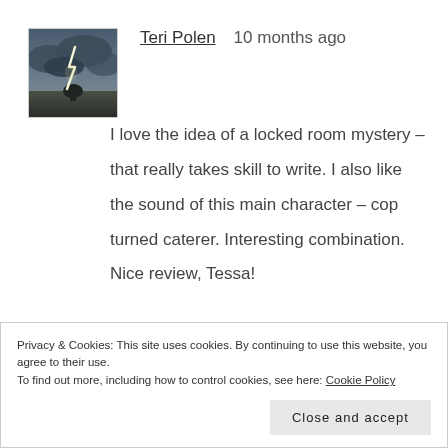[Figure (photo): Avatar image showing a lightning strike over a dark stormy landscape]
Teri Polen   10 months ago
I love the idea of a locked room mystery – that really takes skill to write. I also like the sound of this main character – cop turned caterer. Interesting combination. Nice review, Tessa!
Privacy & Cookies: This site uses cookies. By continuing to use this website, you agree to their use.
To find out more, including how to control cookies, see here: Cookie Policy
Close and accept